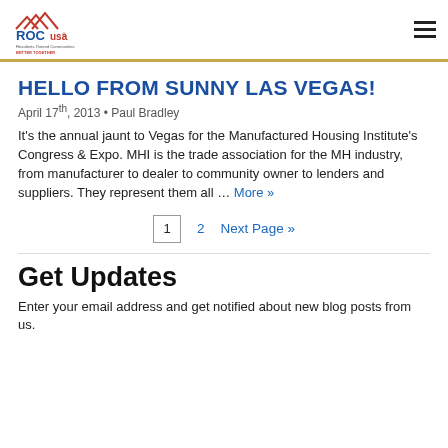BETTER TOGETHER
[Figure (logo): ROC USA logo with house icon and text 'Residents Owned Communities BETTER TOGETHER']
HELLO FROM SUNNY LAS VEGAS!
April 17th, 2013 • Paul Bradley
It's the annual jaunt to Vegas for the Manufactured Housing Institute's Congress & Expo. MHI is the trade association for the MH industry, from manufacturer to dealer to community owner to lenders and suppliers. They represent them all … More »
1  2  Next Page »
Get Updates
Enter your email address and get notified about new blog posts from us.